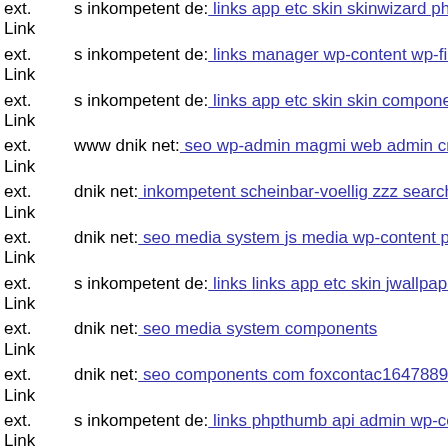ext. Link s inkompetent de: links app etc skin skinwizard php
ext. Link s inkompetent de: links manager wp-content wp-file-manager r
ext. Link s inkompetent de: links app etc skin skin components com b2jc
ext. Link www dnik net: seo wp-admin magmi web admin cms wysiwyg
ext. Link dnik net: inkompetent scheinbar-voellig zzz search engine opti
ext. Link dnik net: seo media system js media wp-content plugins revolu
ext. Link s inkompetent de: links links app etc skin jwallpapers files plup
ext. Link dnik net: seo media system components
ext. Link dnik net: seo components com foxcontac1647889237
ext. Link s inkompetent de: links phpthumb api admin wp-content plugin
ext. Link s inkompetent de: links wp-content plugins wp-mobile-detector
ext. Link s inkompetent de: links phpthumb media tinymce iscripts tiny